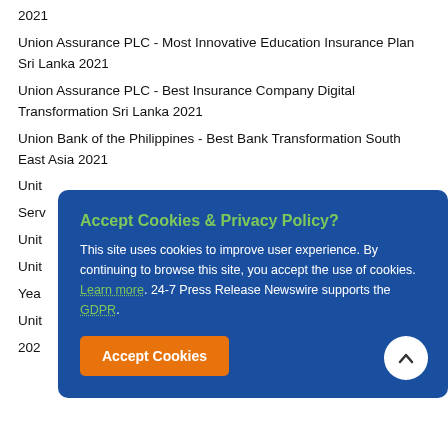2021
Union Assurance PLC - Most Innovative Education Insurance Plan Sri Lanka 2021
Union Assurance PLC - Best Insurance Company Digital Transformation Sri Lanka 2021
Union Bank of the Philippines - Best Bank Transformation South East Asia 2021
United [obscured by overlay]
Services [obscured by overlay]
United [obscured by overlay]
United [obscured] e Year [obscured by overlay]
United [obscured] na 2021 [obscured by overlay]
United Bank For Africa Ltd (Tanzania) - Most Innovative Retail Banking App Tanzania 2021
[Figure (screenshot): Cookie consent popup overlay with blue background, green title 'Accept Cookies & Privacy Policy?', white body text explaining cookie usage, green links for 'Learn more' and 'GDPR', and an orange 'Accept Cookies' button. A white circular scroll-to-top button is in the bottom right corner.]